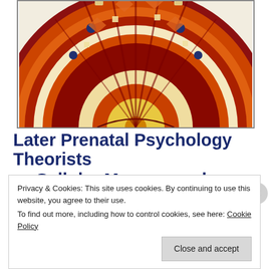[Figure (illustration): Aztec calendar stone / sun stone illustration — circular artifact with intricate colored patterns in red, orange, blue, yellow, and cream. Only the upper portion of the circle is visible, cropped at the bottom. Shown inside a rectangular border.]
Later Prenatal Psychology Theorists — Cellular Memory and Conception, Foundations of Myth and Personality,
Privacy & Cookies: This site uses cookies. By continuing to use this website, you agree to their use.
To find out more, including how to control cookies, see here: Cookie Policy
Close and accept